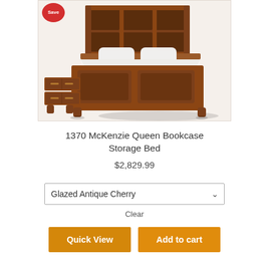[Figure (photo): Wooden queen bookcase storage bed with cherry finish, featuring built-in bookcase headboard and under-bed storage drawers, shown with white bedding. A red 'Save' badge is visible in the top-left corner of the image.]
1370 McKenzie Queen Bookcase Storage Bed
$2,829.99
Glazed Antique Cherry
Clear
Quick View
Add to cart